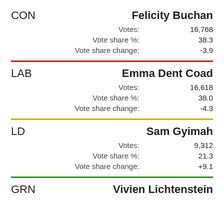CON
Felicity Buchan
| Votes: | 16,768 |
| Vote share %: | 38.3 |
| Vote share change: | -3.9 |
LAB
Emma Dent Coad
| Votes: | 16,618 |
| Vote share %: | 38.0 |
| Vote share change: | -4.3 |
LD
Sam Gyimah
| Votes: | 9,312 |
| Vote share %: | 21.3 |
| Vote share change: | +9.1 |
GRN
Vivien Lichtenstein